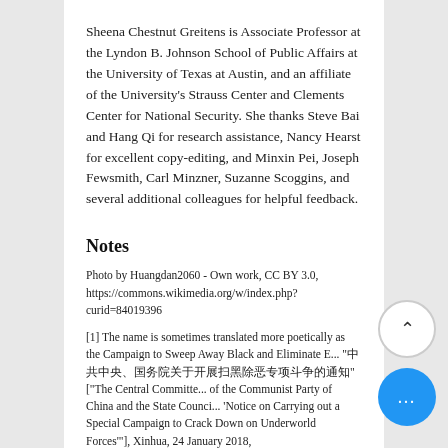Sheena Chestnut Greitens is Associate Professor at the Lyndon B. Johnson School of Public Affairs at the University of Texas at Austin, and an affiliate of the University's Strauss Center and Clements Center for National Security. She thanks Steve Bai and Hang Qi for research assistance, Nancy Hearst for excellent copy-editing, and Minxin Pei, Joseph Fewsmith, Carl Minzner, Suzanne Scoggins, and several additional colleagues for helpful feedback.
Notes
Photo by Huangdan2060 - Own work, CC BY 3.0, https://commons.wikimedia.org/w/index.php?curid=84019396
[1] The name is sometimes translated more poetically as the Campaign to Sweep Away Black and Eliminate Evil. "中共中央、国务院关于开展扫黑除恶专项斗争的通知" ["The Central Committee of the Communist Party of China and the State Council's 'Notice on Carrying out a Special Campaign to Crack Down on Underworld Forces'"], Xinhua, 24 January 2018, http://www.xinhuanet.com/legal/2018-01/24/c_1122309773.htm. See also "推进扫黑除恶专项斗争" ["Pushing Forward the Special Campaign to Crack Down on Underworld Forces"], Legal Daily, 13 October 2019, http://www.legaldaily.com.cn/zt/content/2019-10/13/content_8015733.htm